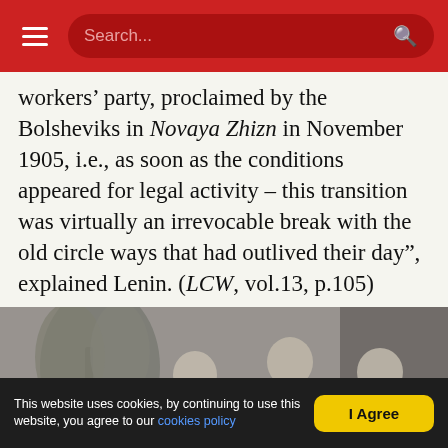Search...
workers’ party, proclaimed by the Bolsheviks in Novaya Zhizn in November 1905, i.e., as soon as the conditions appeared for legal activity – this transition was virtually an irrevocable break with the old circle ways that had outlived their day”, explained Lenin. (LCW, vol.13, p.105)
[Figure (photo): Black and white historical group portrait photograph of seven men, some seated and some standing, in late 19th/early 20th century attire.]
This website uses cookies, by continuing to use this website, you agree to our cookies policy